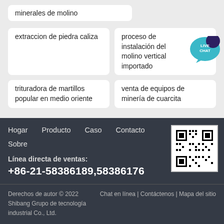minerales de molino
extraccion de piedra caliza
proceso de instalación del molino vertical importado
trituradora de martillos popular en medio oriente
venta de equipos de minería de cuarcita
[Figure (other): Live Chat bubble icon badge in teal/dark blue]
Hogar   Producto   Caso   Contacto   Sobre
[Figure (other): QR code for website]
Línea directa de ventas:
+86-21-58386189,58386176
Derechos de autor © 2022 Shibang Grupo de tecnología industrial Co., Ltd.   Chat en línea | Contáctenos | Mapa del sitio